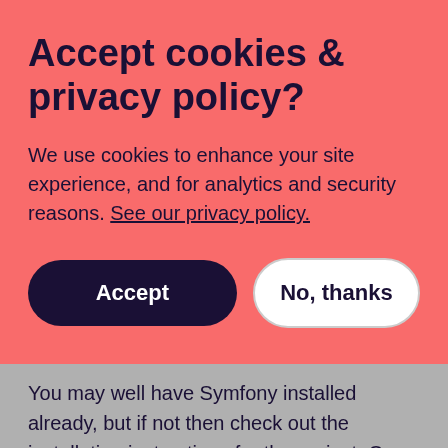Accept cookies & privacy policy?
We use cookies to enhance your site experience, and for analytics and security reasons. See our privacy policy.
Accept
No, thanks
You may well have Symfony installed already, but if not then check out the installation instructions for the project. Once Symfony is set up, then you can install the RabbitMqBundle. There are some good instructions on the github project page for the